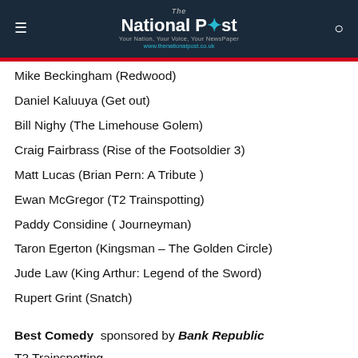The National Post — Your Nation, Your Voice, Your NewsPaper — www.thenationalpost.co.uk
Mike Beckingham (Redwood)
Daniel Kaluuya (Get out)
Bill Nighy (The Limehouse Golem)
Craig Fairbrass (Rise of the Footsoldier 3)
Matt Lucas (Brian Pern: A Tribute )
Ewan McGregor (T2 Trainspotting)
Paddy Considine ( Journeyman)
Taron Egerton (Kingsman – The Golden Circle)
Jude Law (King Arthur: Legend of the Sword)
Rupert Grint (Snatch)
Best Comedy sponsored by Bank Republic
T2 Trainspotting
Mindhorn
The Party